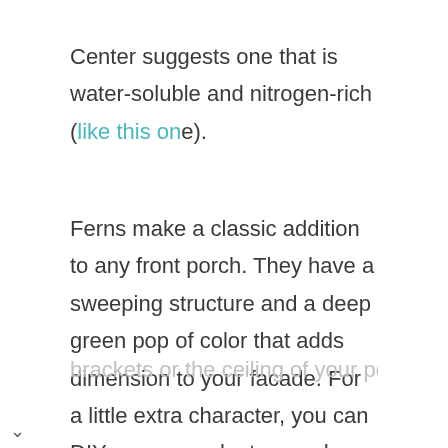Center suggests one that is water-soluble and nitrogen-rich (like this one).
Ferns make a classic addition to any front porch. They have a sweeping structure and a deep green pop of color that adds dimension to your facade. For a little extra character, you can DIY your own planters and hang them either from decorative wall brackets or the ceiling of your porch. Just keep in